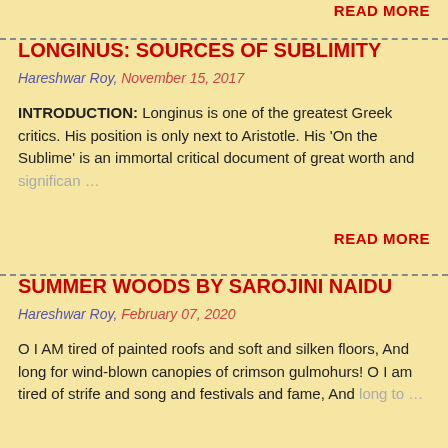READ MORE
LONGINUS: SOURCES OF SUBLIMITY
Hareshwar Roy, November 15, 2017
INTRODUCTION: Longinus is one of the greatest Greek critics. His position is only next to Aristotle. His 'On the Sublime' is an immortal critical document of great worth and significan…
READ MORE
SUMMER WOODS BY SAROJINI NAIDU
Hareshwar Roy, February 07, 2020
O I AM tired of painted roofs and soft and silken floors, And long for wind-blown canopies of crimson gulmohurs! O I am tired of strife and song and festivals and fame, And long to…